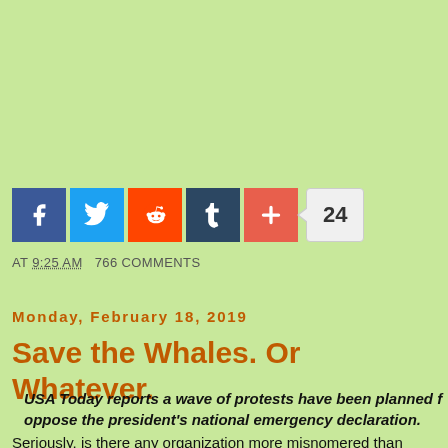[Figure (other): Social media share buttons row: Facebook (blue), Twitter (light blue), Reddit (orange), Tumblr (dark blue), Plus/Add (red), and a share count badge showing 24]
AT 9:25 AM   766 COMMENTS
Monday, February 18, 2019
Save the Whales. Or Whatever.
USA Today reports a wave of protests have been planned f... oppose the president's national emergency declaration.
Seriously, is there any organization more misnomered than MoveO...